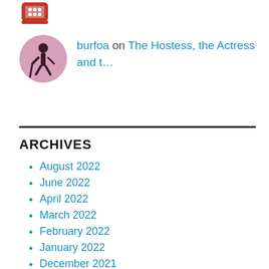[Figure (illustration): Small avatar icon: decorative shield/crest logo in red and white at top left]
[Figure (illustration): Circular avatar showing a silhouette of a person with a walking stick against a pink/purple background]
burfoa on The Hostess, the Actress and t…
ARCHIVES
August 2022
June 2022
April 2022
March 2022
February 2022
January 2022
December 2021
November 2021